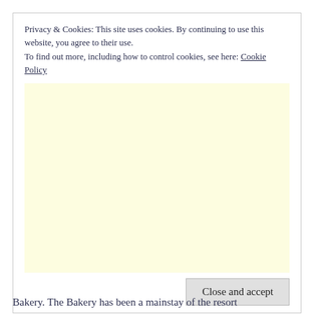Privacy & Cookies: This site uses cookies. By continuing to use this website, you agree to their use.
To find out more, including how to control cookies, see here: Cookie Policy
[Figure (other): A large light yellow advertisement placeholder box]
Close and accept
Bakery. The Bakery has been a mainstay of the resort